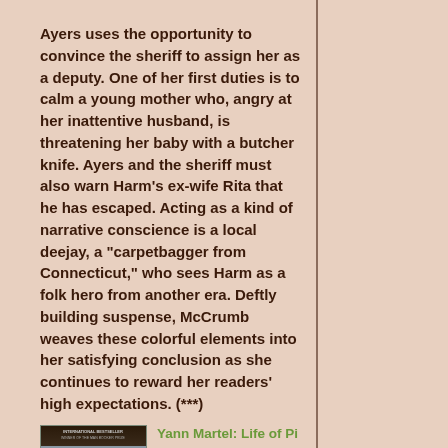Ayers uses the opportunity to convince the sheriff to assign her as a deputy. One of her first duties is to calm a young mother who, angry at her inattentive husband, is threatening her baby with a butcher knife. Ayers and the sheriff must also warn Harm's ex-wife Rita that he has escaped. Acting as a kind of narrative conscience is a local deejay, a "carpetbagger from Connecticut," who sees Harm as a folk hero from another era. Deftly building suspense, McCrumb weaves these colorful elements into her satisfying conclusion as she continues to reward her readers' high expectations. (***)
[Figure (illustration): Book cover of Life of Pi by Yann Martel showing a person standing on a boat with a tiger, ocean background]
Yann Martel: Life of Pi
Pi, his family, and their zoo set off on a move from India to Canada. All goes well until they are ship wrecked in the